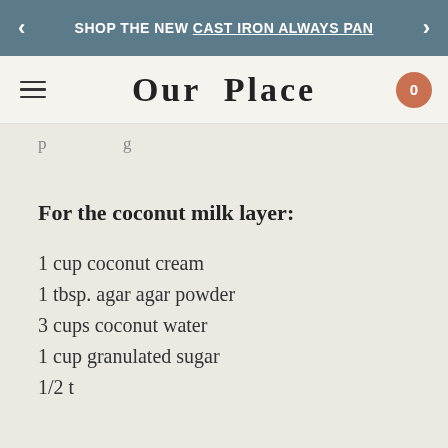SHOP THE NEW CAST IRON ALWAYS PAN
Our Place
p g
For the coconut milk layer:
1 cup coconut cream
1 tbsp. agar agar powder
3 cups coconut water
1 cup granulated sugar
1/2 t ...